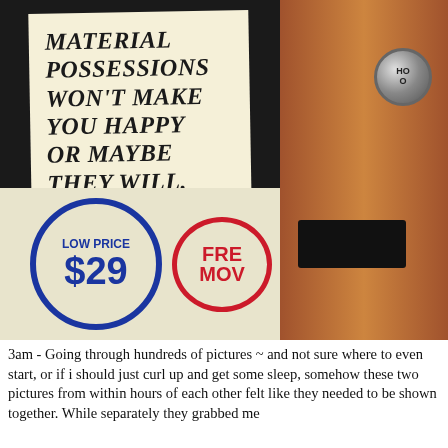[Figure (photo): Left photo: A store sign reading 'MATERIAL POSSESSIONS WON'T MAKE YOU HAPPY OR MAYBE THEY WILL.' above a price sign showing 'LOW PRICE $29' in a blue circle and 'FREE MOV' in a red circle. Right photo: A wooden door panel with a round metallic button labeled 'HO' and a black rectangular plate.]
3am - Going through hundreds of pictures ~ and not sure where to even start, or if i should just curl up and get some sleep, somehow these two pictures from within hours of each other felt like they needed to be shown together. While separately they grabbed me